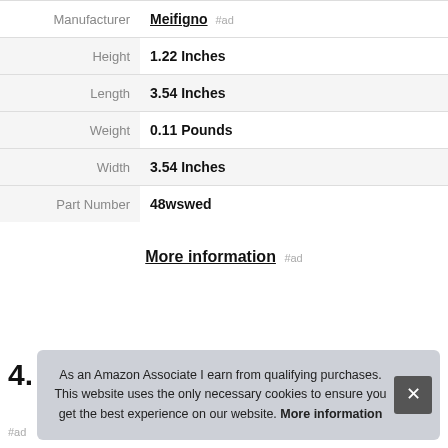|  |  |
| --- | --- |
| Manufacturer | Meifigno #ad |
| Height | 1.22 Inches |
| Length | 3.54 Inches |
| Weight | 0.11 Pounds |
| Width | 3.54 Inches |
| Part Number | 48wswed |
More information #ad
4.
As an Amazon Associate I earn from qualifying purchases. This website uses the only necessary cookies to ensure you get the best experience on our website. More information